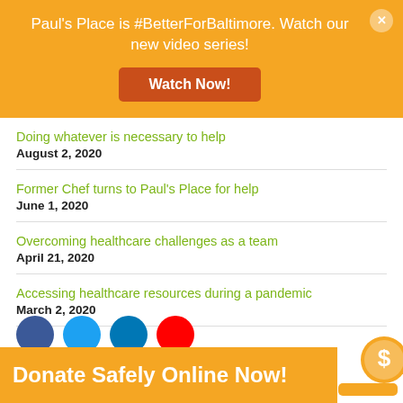[Figure (infographic): Orange banner with text: Paul's Place is #BetterForBaltimore. Watch our new video series! And a dark orange Watch Now! button. A close X button in top right.]
Doing whatever is necessary to help
August 2, 2020
Former Chef turns to Paul's Place for help
June 1, 2020
Overcoming healthcare challenges as a team
April 21, 2020
Accessing healthcare resources during a pandemic
March 2, 2020
[Figure (infographic): Orange Donate Safely Online Now! banner at bottom with dollar sign coin icon at right and social media icons (Facebook, Twitter, LinkedIn, YouTube) above.]